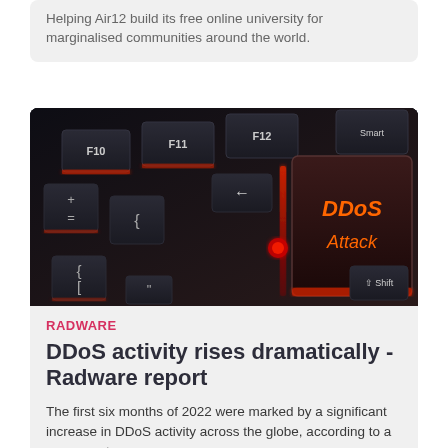Helping Air12 build its free online university for marginalised communities around the world.
[Figure (photo): Dark keyboard with a prominent key showing 'DDoS Attack' text in orange, with red LED lighting underneath. Other visible keys include F10, F11, F12, Smart, Shift, and programming symbol keys.]
RADWARE
DDoS activity rises dramatically - Radware report
The first six months of 2022 were marked by a significant increase in DDoS activity across the globe, according to a new report.